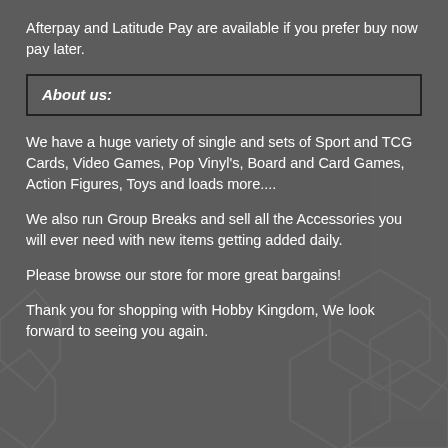Afterpay and Latitude Pay are available if you prefer buy now pay later.
About us:
We have a huge variety of single and sets of Sport and TCG Cards, Video Games, Pop Vinyl's, Board and Card Games, Action Figures, Toys and loads more....
We also run Group Breaks and sell all the Accessories you will ever need with new items getting added daily.
Please browse our store for more great bargains!
Thank you for shopping with Hobby Kingdom, We look forward to seeing you again.